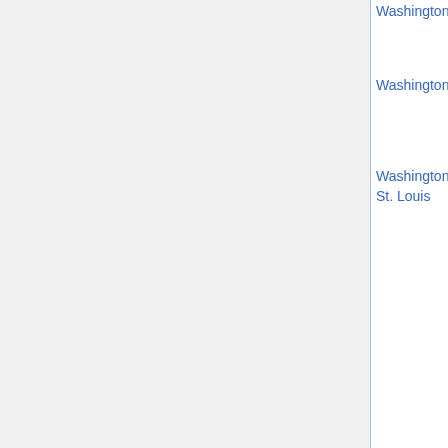| Institution | Area | Deadline | Names |
| --- | --- | --- | --- |
| Washington St | comp math (u) | Dec 3 | Hye-Won Kang [strikethrough], Xueying Wang [bold] |
| Washington St | optimization (u) | Dec 3 | Foad Mahdavi Pajouh [strikethrough], Hongbo Dong [bold], Sung Hoon Chung |
| Washington U, St. Louis | analysis (2), any (1) (u) | Nov 1 | Dean Baskin [strikethrough], Gregory Knese, Sarah Koch [strikethrough], Andrew Lawrie, Kevin Luli [strikethrough], Lillian Pierce [strikethrough], Anne Shiu [strikethrough] |